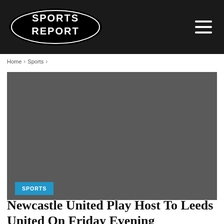SPORTS REPORT
Home > Sports >
[Figure (photo): Dark grey hero image placeholder for a sports article about Newcastle United vs Leeds United]
SPORTS
Newcastle United Play Host To Leeds United On Friday Evening